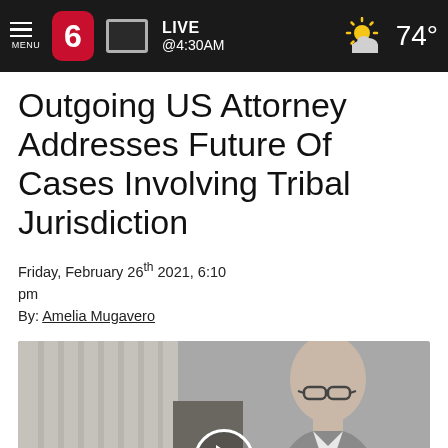LIVE @4:30AM  74°
Outgoing US Attorney Addresses Future Of Cases Involving Tribal Jurisdiction
Friday, February 26th 2021, 6:10 pm
By: Amelia Mugavero
[Figure (screenshot): Video thumbnail showing a man in glasses and suit with a play button overlay]